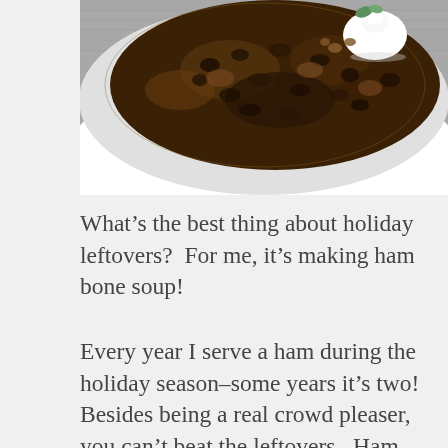[Figure (photo): A white bowl of dark bean and ham soup topped with a dollop of sour cream or whipped cream and a green herb garnish, photographed from above on a gray woven surface.]
What’s the best thing about holiday leftovers?  For me, it’s making ham bone soup!
Every year I serve a ham during the holiday season–some years it’s two!  Besides being a real crowd pleaser, you can’t beat the leftovers.  Ham and eggs, hearty